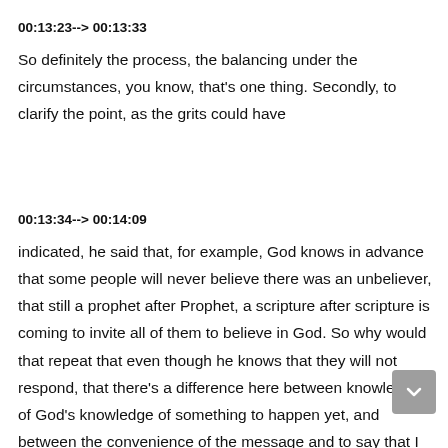00:13:23--> 00:13:33
So definitely the process, the balancing under the circumstances, you know, that's one thing. Secondly, to clarify the point, as the grits could have
00:13:34--> 00:14:09
indicated, he said that, for example, God knows in advance that some people will never believe there was an unbeliever, that still a prophet after Prophet, a scripture after scripture is coming to invite all of them to believe in God. So why would that repeat that even though he knows that they will not respond, that there's a difference here between knowledge of God's knowledge of something to happen yet, and between the convenience of the message and to say that I think under the circumstances. And the other hand, we have to keep in